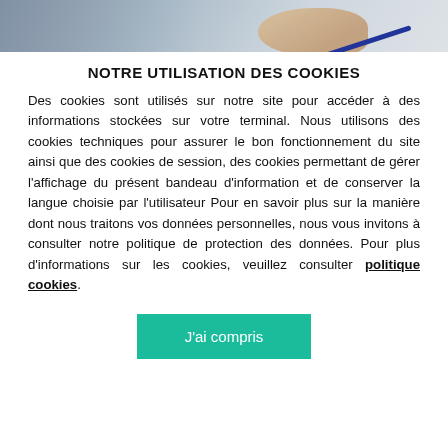[Figure (photo): Photo strip at top showing hands with a pen, signing a document]
NOTRE UTILISATION DES COOKIES
Des cookies sont utilisés sur notre site pour accéder à des informations stockées sur votre terminal. Nous utilisons des cookies techniques pour assurer le bon fonctionnement du site ainsi que des cookies de session, des cookies permettant de gérer l'affichage du présent bandeau d'information et de conserver la langue choisie par l'utilisateur Pour en savoir plus sur la manière dont nous traitons vos données personnelles, nous vous invitons à consulter notre politique de protection des données. Pour plus d'informations sur les cookies, veuillez consulter politique cookies.
J'ai compris